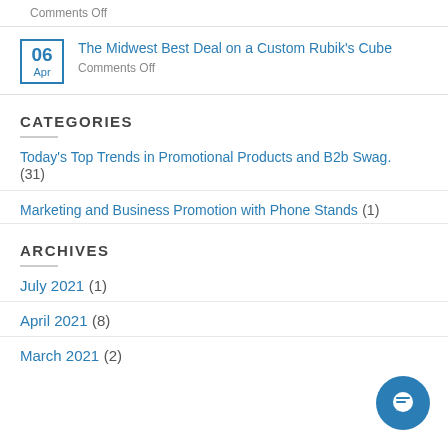Comments Off
The Midwest Best Deal on a Custom Rubik's Cube
Comments Off
CATEGORIES
Today's Top Trends in Promotional Products and B2b Swag. (31)
Marketing and Business Promotion with Phone Stands (1)
ARCHIVES
July 2021 (1)
April 2021 (8)
March 2021 (2)